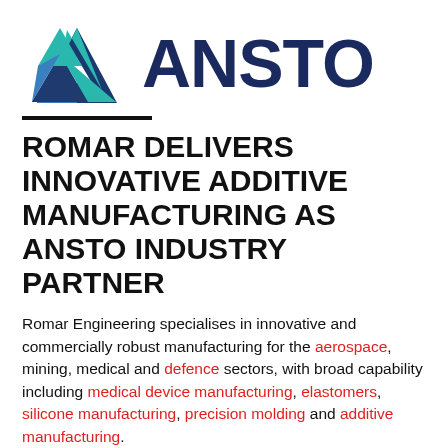[Figure (logo): ANSTO logo: teal and blue triangle shape on the left, bold dark navy 'ANSTO' text on the right]
ROMAR DELIVERS INNOVATIVE ADDITIVE MANUFACTURING AS ANSTO INDUSTRY PARTNER
Romar Engineering specialises in innovative and commercially robust manufacturing for the aerospace, mining, medical and defence sectors, with broad capability including medical device manufacturing, elastomers, silicone manufacturing, precision molding and additive manufacturing.